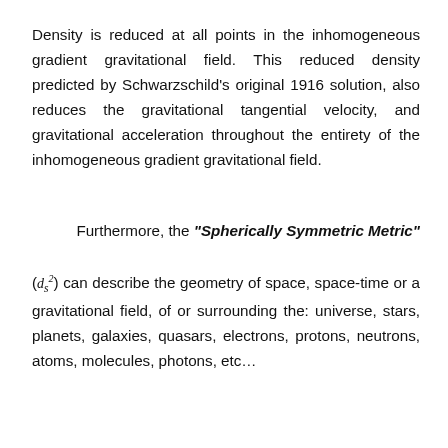Density is reduced at all points in the inhomogeneous gradient gravitational field. This reduced density predicted by Schwarzschild's original 1916 solution, also reduces the gravitational tangential velocity, and gravitational acceleration throughout the entirety of the inhomogeneous gradient gravitational field.
Furthermore, the "Spherically Symmetric Metric"
(ds²) can describe the geometry of space, space-time or a gravitational field, of or surrounding the: universe, stars, planets, galaxies, quasars, electrons, protons, neutrons, atoms, molecules, photons, etc…